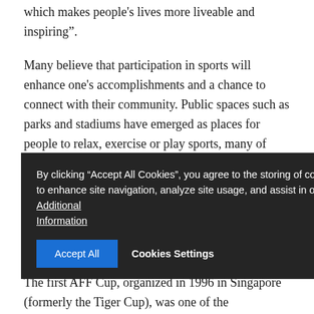which makes people's lives more liveable and inspiring".
Many believe that participation in sports will enhance one's accomplishments and a chance to connect with their community. Public spaces such as parks and stadiums have emerged as places for people to relax, exercise or play sports, many of which, like football, have taken advantage of these public spaces. This highlights the fact that public spaces can help to refresh the soul of the city and is linked to the importance of sport and leisure.
By clicking "Accept All Cookies", you agree to the storing of cookies on your device to enhance site navigation, analyze site usage, and assist in our marketing efforts. Additional Information
About the AFF Suzuki Cup
The first AFF Cup, organized in 1996 in Singapore (formerly the Tiger Cup), was one of the unforgettable